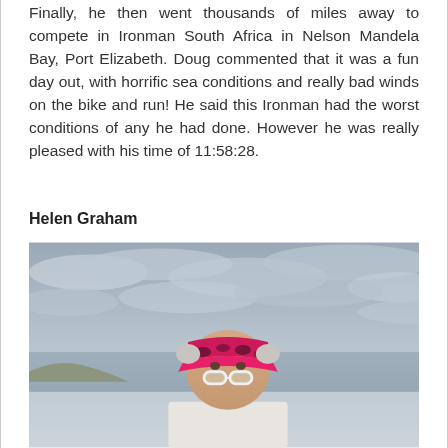Finally, he then went thousands of miles away to compete in Ironman South Africa in Nelson Mandela Bay, Port Elizabeth. Doug commented that it was a fun day out, with horrific sea conditions and really bad winds on the bike and run! He said this Ironman had the worst conditions of any he had done. However he was really pleased with his time of 11:58:28.
Helen Graham
[Figure (photo): A woman wearing a pink and black visor and white sunglasses, photographed outdoors under a grey cloudy sky near water.]